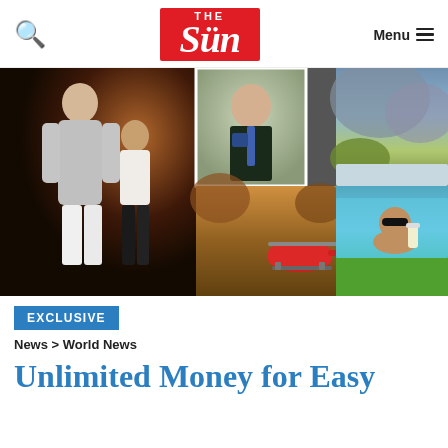The Sun - Menu
[Figure (photo): Photo collage: couple posing at night venue (left), school portrait of boy in blazer and tie (center top), red helicopter at canyon (center bottom), Mediterranean hillside scenic (right top), man relaxing in pool with drink (right bottom)]
EXCLUSIVE
News > World News
Unlimited Money for Easy